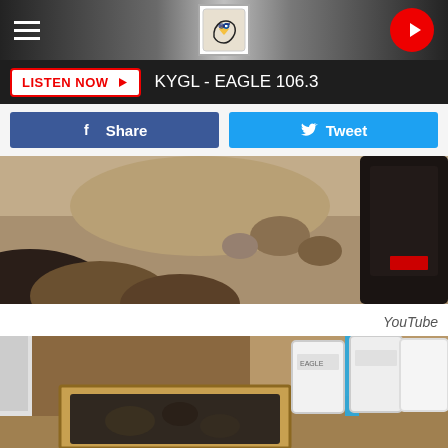[Figure (screenshot): Mobile radio station website header with hamburger menu, KYGL Eagle 106.3 logo, and red play button]
LISTEN NOW ▶  KYGL - EAGLE 106.3
Share  Tweet
[Figure (photo): Close-up photo of dirt and rocks on ground with a dark boot visible at right edge]
YouTube
[Figure (photo): Outdoor scene with white buckets, blue strip, wooden sifting box with rocks, and sandy ground]